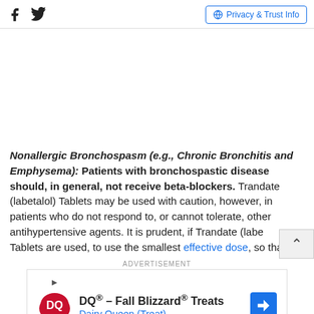Facebook Twitter | Privacy & Trust Info
Nonallergic Bronchospasm (e.g., Chronic Bronchitis and Emphysema): Patients with bronchospastic disease should, in general, not receive beta-blockers. Trandate (labetalol) Tablets may be used with caution, however, in patients who do not respond to, or cannot tolerate, other antihypertensive agents. It is prudent, if Trandate (labetalol) Tablets are used, to use the smallest effective dose, so that
ADVERTISEMENT
[Figure (other): Dairy Queen advertisement banner: DQ® - Fall Blizzard® Treats, Dairy Queen (Treat) with DQ logo and directional arrow icon]